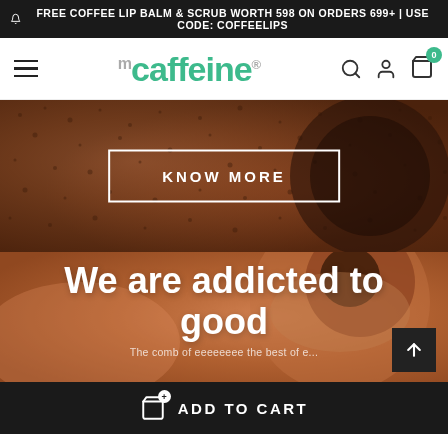FREE COFFEE LIP BALM & SCRUB WORTH 598 ON ORDERS 699+ | USE CODE: COFFEELIPS
[Figure (screenshot): mCaffeine brand logo with navigation bar including hamburger menu, search, account and cart icons]
[Figure (photo): Coffee grounds texture background with KNOW MORE button]
[Figure (photo): Warm brown coffee product background with text 'We are addicted to good' and partial subtitle text]
ADD TO CART